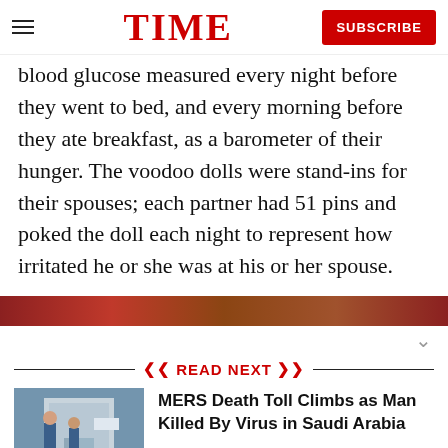TIME | SUBSCRIBE
blood glucose measured every night before they went to bed, and every morning before they ate breakfast, as a barometer of their hunger. The voodoo dolls were stand-ins for their spouses; each partner had 51 pins and poked the doll each night to represent how irritated he or she was at his or her spouse.
[Figure (photo): Red/brown advertisement banner image]
READ NEXT
[Figure (photo): Photo of two people in blue scrubs standing outside a building]
MERS Death Toll Climbs as Man Killed By Virus in Saudi Arabia